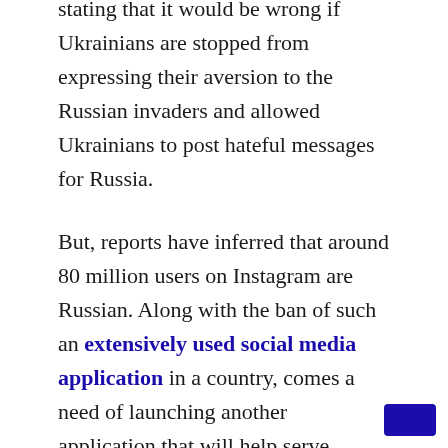stating that it would be wrong if Ukrainians are stopped from expressing their aversion to the Russian invaders and allowed Ukrainians to post hateful messages for Russia.
But, reports have inferred that around 80 million users on Instagram are Russian. Along with the ban of such an extensively used social media application in a country, comes a need of launching another application that will help serve similar purposes. Thus, Russia is now going to launch a new application for their citizens that will work as a substitution to Instagram and will be called “Rossgram”. No one will be able to use Instagram in Russia and if anyone wishes to be on social media, they will be